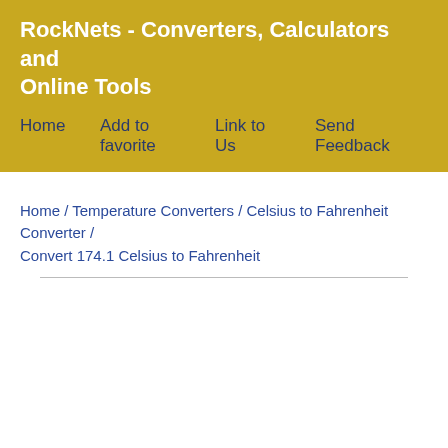RockNets - Converters, Calculators and Online Tools
Home   Add to favorite   Link to Us   Send Feedback
Home / Temperature Converters / Celsius to Fahrenheit Converter / Convert 174.1 Celsius to Fahrenheit